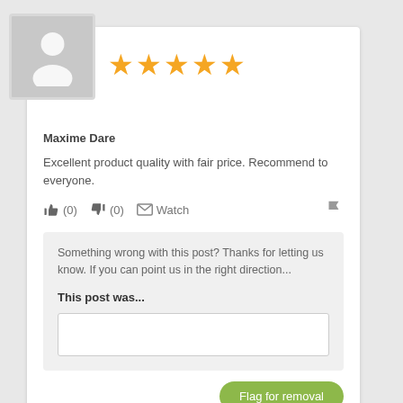[Figure (illustration): User avatar placeholder — grey square with white silhouette person icon]
[Figure (other): Five orange star rating icons]
Maxime Dare
Excellent product quality with fair price. Recommend to everyone.
👍 (0)  👎 (0)  ✉ Watch  🚩
Something wrong with this post? Thanks for letting us know. If you can point us in the right direction...
This post was...
Flag for removal